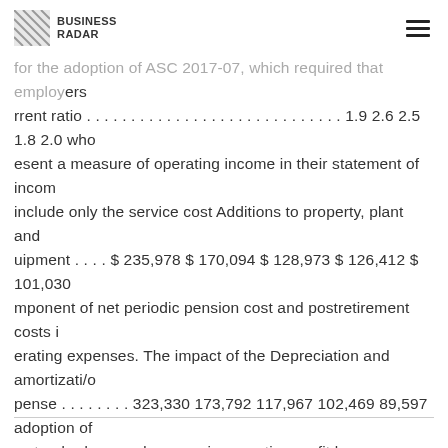BUSINESS RADAR
for the adoption of ASC 2017-07, which required that employers rrent ratio . . . . . . . . . . . . . . . . . . . . . . . . . . . . . . . . 1.9 2.6 2.5 1.8 2.0 who esent a measure of operating income in their statement of income include only the service cost Additions to property, plant and uipment . . . . $ 235,978 $ 170,094 $ 128,973 $ 126,412 $ 101,030 mponent of net periodic pension cost and postretirement costs in erating expenses. The impact of the Depreciation and amortization pense . . . . . . . . 323,330 173,792 117,967 102,469 89,597 adoption of s standard was a decrease in operating profit by approximately 8.8 million, $14.4 million Cash dividends declared per share . . . . . . $ 2.96 $ 2.84 $ 2.66 $ 2.40 $ 2.06 Number of shareholders of record year-end . . 1,555 1,276 1,735 1,892 2,013 and $0.6 million for the cal year 2017, 2016 and 2015, respectively, and corresponding creases in Other Number of employees at year-end . . . . . . . . . . ,668 13,209 7,299 6,932 6,732 (income) expense, net. 38 39